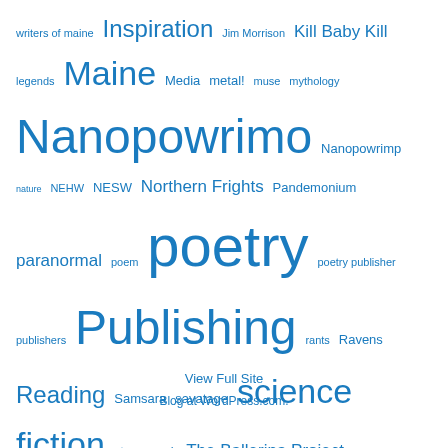writers of maine Inspiration Jim Morrison Kill Baby Kill legends Maine Media metal! muse mythology Nanopowrimo Nanopowrimp nature NEHW NESW Northern Frights Pandemonium paranormal poem poetry poetry publisher publishers Publishing rants Ravens Reading Samsara savatage science fiction steampunk The Ballerina Project the darkness within The Dreamscene Experiment the end transiberian orchestra Tuesday Mayhem Society Wicked Witches wihm winter Womeninhorror writing Wyrd
View Full Site
Blog at WordPress.com.